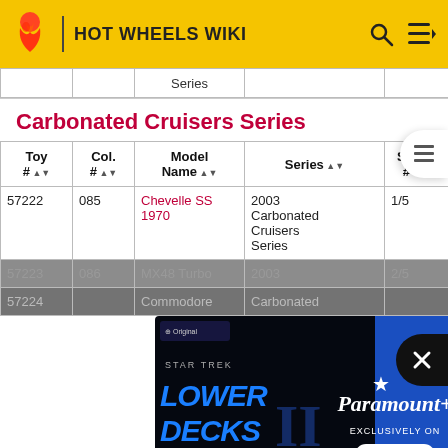HOT WHEELS WIKI
|  |  | Series |  |  |
| --- | --- | --- | --- | --- |
|  |  |  |  |  |
Carbonated Cruisers Series
| Toy # | Col. # | Model Name | Series | Series # |
| --- | --- | --- | --- | --- |
| 57222 | 085 | Chevelle SS 1970 | 2003 Carbonated Cruisers Series | 1/5 |
| 57223 | 086 | MX48 Turbo | 2003 ... | 2/5 |
| 57224 |  | Commodore | Carbonated ... |  |
[Figure (screenshot): Star Trek Lower Decks advertisement - Paramount+ streaming ad]